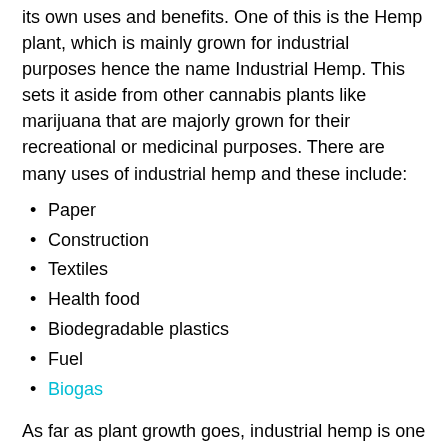its own uses and benefits. One of this is the Hemp plant, which is mainly grown for industrial purposes hence the name Industrial Hemp. This sets it aside from other cannabis plants like marijuana that are majorly grown for their recreational or medicinal purposes. There are many uses of industrial hemp and these include:
Paper
Construction
Textiles
Health food
Biodegradable plastics
Fuel
Biogas
As far as plant growth goes, industrial hemp is one of the fastest. It also requires very little in the way of pesticides,